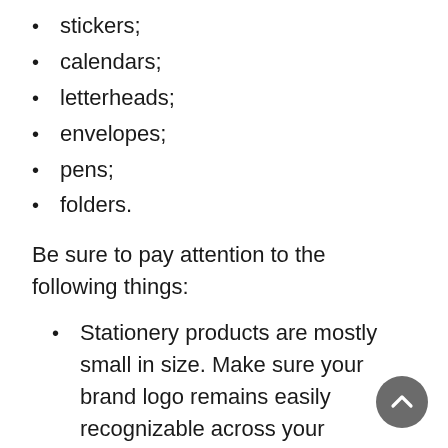stickers;
calendars;
letterheads;
envelopes;
pens;
folders.
Be sure to pay attention to the following things:
Stationery products are mostly small in size. Make sure your brand logo remains easily recognizable across your business cards, pens, etc. Find a contrasting